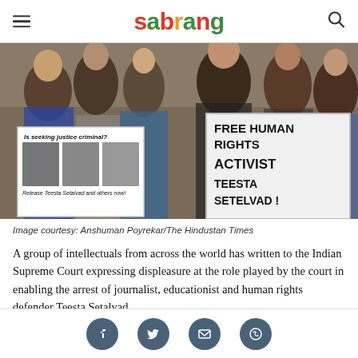sabrang
[Figure (photo): Protest photo showing demonstrators holding signs reading 'Is seeking justice criminal? Release Teesta Setalvad and others now!' and 'FREE HUMAN RIGHTS ACTIVIST TEESTA SETELVAD!']
Image courtesy: Anshuman Poyrekar/The Hindustan Times
A group of intellectuals from across the world has written to the Indian Supreme Court expressing displeasure at the role played by the court in enabling the arrest of journalist, educationist and human rights defender Teesta Setalvad.
Social share icons: Facebook, Twitter, Email, WhatsApp